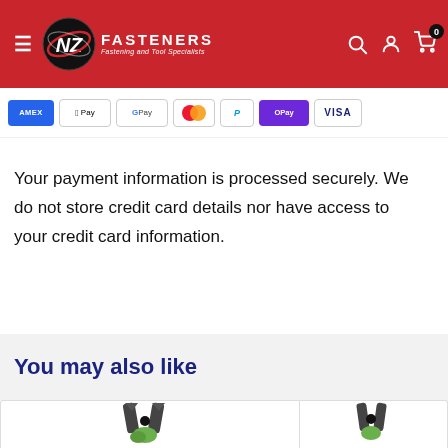NZ Fasteners - Fastening and Tool Specialists
[Figure (screenshot): Payment method icons: Amex, Apple Pay, Google Pay, Mastercard, PayPal, OPay, Visa]
Your payment information is processed securely. We do not store credit card details nor have access to your credit card information.
You may also like
[Figure (photo): Partial view of two product cards showing tools — a plier/cutter tool with green accents on the left, and a similar tool on the right, both partially visible]